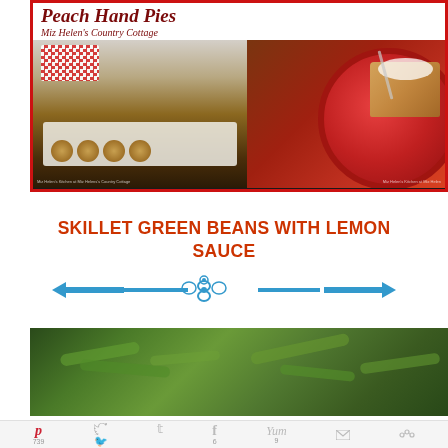[Figure (photo): Peach Hand Pies collage image from Miz Helen's Country Cottage, showing two food photos side by side with a decorative red border. Left photo shows small baked pies on a white tray with a red checkered cloth, right photo shows a peach hand pie on a red plate with cream sauce.]
SKILLET GREEN BEANS WITH LEMON SAUCE
[Figure (illustration): Blue decorative divider with ornate scrollwork and arrows pointing left and right]
[Figure (photo): Close-up photograph of skillet green beans dish]
[Figure (infographic): Social sharing bar with Pinterest (739), Twitter, Facebook (6), Yum (9), email, and more sharing options icons]